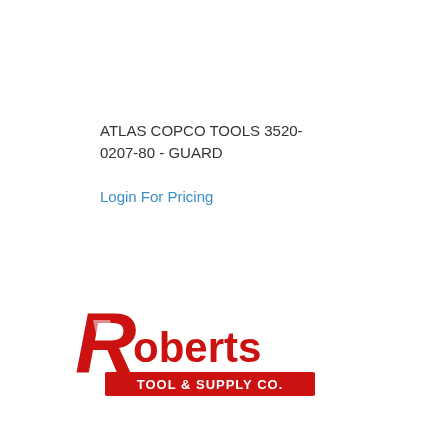ATLAS COPCO TOOLS 3520-0207-80 - GUARD
Login For Pricing
[Figure (logo): Roberts Tool & Supply Co. logo — large red stylized 'R' with 'oberts' in red bold text, and a red banner below reading 'TOOL & SUPPLY CO.' in white text]